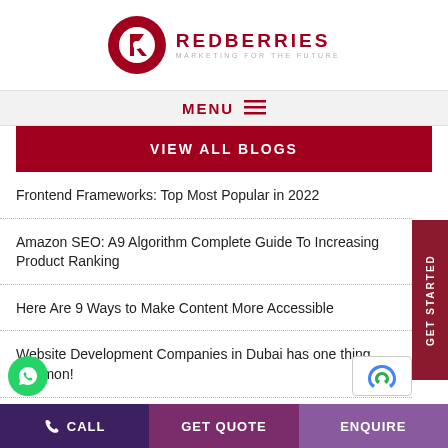[Figure (logo): Redberries Marketing For The Future logo — dark red circular icon with letter R and text REDBERRIES / MARKETING FOR THE FUTURE]
MENU ≡
VIEW ALL BLOGS
Frontend Frameworks: Top Most Popular in 2022
Amazon SEO: A9 Algorithm Complete Guide To Increasing Product Ranking
Here Are 9 Ways to Make Content More Accessible
Website Development Companies in Dubai has one thing common!
CALL   GET QUOTE   ENQUIRE